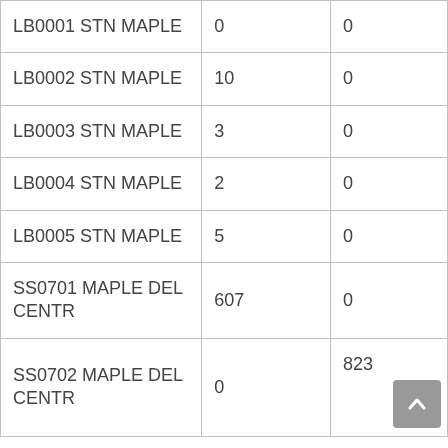| LB0001 STN MAPLE | 0 | 0 |
| LB0002 STN MAPLE | 10 | 0 |
| LB0003 STN MAPLE | 3 | 0 |
| LB0004 STN MAPLE | 2 | 0 |
| LB0005 STN MAPLE | 5 | 0 |
| SS0701 MAPLE DEL CENTR | 607 | 0 |
| SS0702 MAPLE DEL CENTR | 0 | 823 |